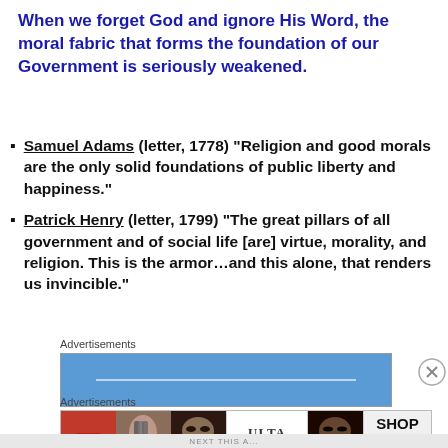When we forget God and ignore His Word, the moral fabric that forms the foundation of our Government is seriously weakened.
Samuel Adams (letter, 1778) “Religion and good morals are the only solid foundations of public liberty and happiness.”
Patrick Henry (letter, 1799) “The great pillars of all government and of social life [are] virtue, morality, and religion. This is the armor…and this alone, that renders us invincible.”
Advertisements
[Figure (other): Blue advertisement banner bar]
Advertisements
[Figure (other): Ulta Beauty advertisement banner with cosmetics images and SHOP NOW call to action]